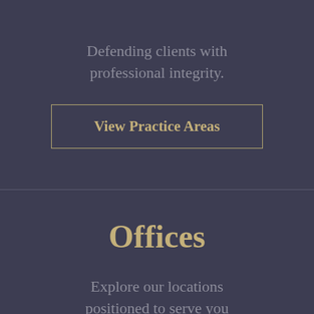Defending clients with professional integrity.
View Practice Areas
Offices
Explore our locations positioned to serve you